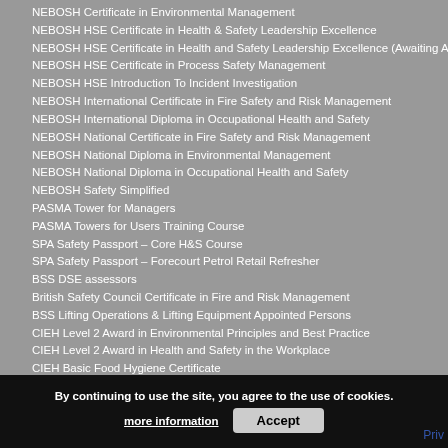NEBOSH Certificate in Environmental Management
NEBOSH HSE Certificate in Health & Safety Leadership Excellence
NEBOSH HSE Certificate in Health and Safety Leadership Excellence (Awaiting App
NEBOSH HSE Certificate in Process Safety Management
NEBOSH HSE Introduction To Incident Investigation
NEBOSH International Certificate in Fire Safety and Risk Management
NEBOSH International Diploma in Occupational Health and Safety
NEBOSH National Certificate in Fire Safety and Risk Management
NEBOSH National Diploma in Environmental Management
NEBOSH National Diploma in Occupational Health and Safety
NEBOSH Safety Simplified
PASMA Tower for Managers
PASMA Towers for Users Training Course
SPA Safety Passport – Core H&S Course
SPA Safety Passport – Forecourt Petrol Retail Refresher
BSS DSE assessors
British Safety Council Certificate in Fire and Risk Management
BSS Lifting Operations & Lifting Equipment Appointed Persons
CIEH Level 2 Award in Environmental Principles and Best Practice
CIEH Level 2 Award in Health and Safety in the Workplace
CIEH Basic Food Hygiene Certificate
CIEH Level 3 Award in Environmental Management
British Safety Council's Level 1 Certificate in Health and Safety at Work
CIEH Level 3 Award in Training Skills and Practice
CIEH Risk Assessment Principles
CIEH Principles of COSHH Certificate
CIEH Supervising Health & Safety
By continuing to use the site, you agree to the use of cookies.
more information
Accept
Priv